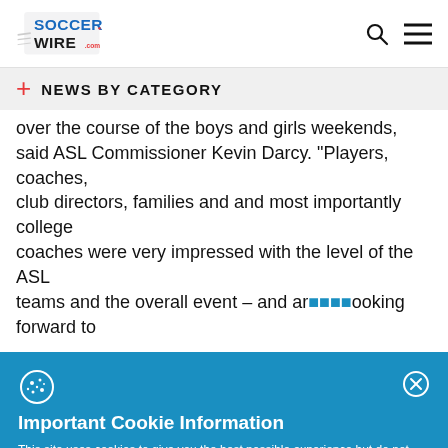SoccerWire.com
NEWS BY CATEGORY
over the course of the boys and girls weekends, said ASL Commissioner Kevin Darcy. “Players, coaches, club directors, families and and most importantly college coaches were very impressed with the level of the ASL teams and the overall event – and are looking forward to
Important Cookie Information

This site uses cookies to give you the best possible experience but do not collect personal information. By continuing to use the site you agree that we can save cookies on your device. Cookies are small text files placed on your device that remember your preferences and some details of your visit. For more information and details of how to disable cookies, please read our privacy policy.
ACCEPT